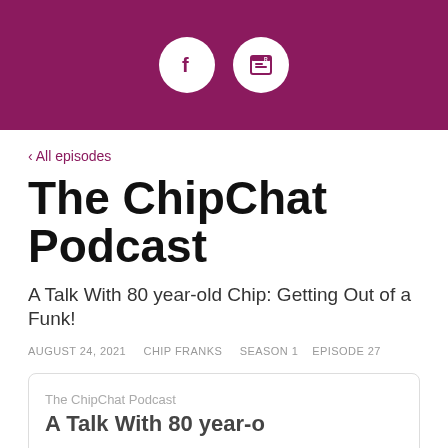[Figure (other): Purple header bar with two white circle icon buttons (Facebook and a browser/reader icon)]
‹ All episodes
The ChipChat Podcast
A Talk With 80 year-old Chip: Getting Out of a Funk!
AUGUST 24, 2021   CHIP FRANKS   SEASON 1   EPISODE 27
[Figure (screenshot): Embedded podcast player card showing 'The ChipChat Podcast' label and episode title 'A Talk With 80 year-' (truncated)]